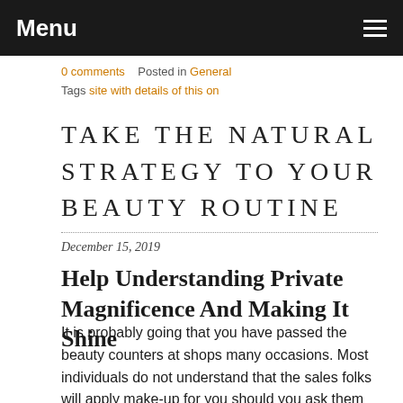Menu
0 comments   Posted in General
Tags site with details of this on
TAKE THE NATURAL STRATEGY TO YOUR BEAUTY ROUTINE
December 15, 2019
Help Understanding Private Magnificence And Making It Shine
It is probably going that you have passed the beauty counters at shops many occasions. Most individuals do not understand that the sales folks will apply make-up for you should you ask them to do so. This article will